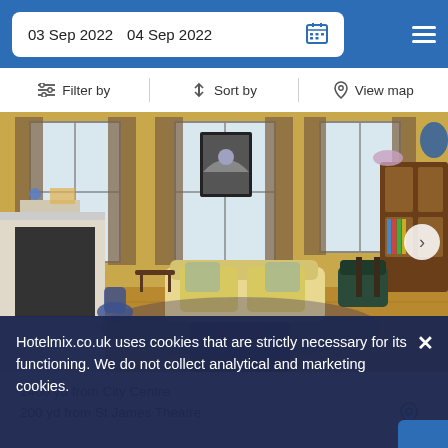03 Sep 2022  04 Sep 2022
Filter by  Sort by  View map
[Figure (photo): Interior living room photo showing a yellow-walled room with floral curtains, a cream sofa, fireplace, wooden furniture, and hardwood floors]
1400 yd from City Centre
200 yd from St James Theatre
Hotelmix.co.uk uses cookies that are strictly necessary for its functioning. We do not collect analytical and marketing cookies.